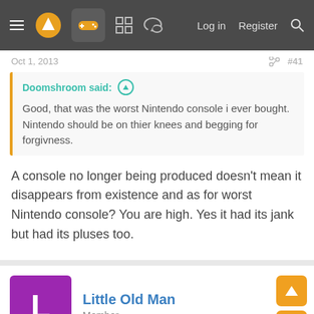Navigation bar with menu, logo, gamepad icon, grid icon, chat icon, Log in, Register, Search
Oct 1, 2013  #41
Doomshroom said: Good, that was the worst Nintendo console i ever bought. Nintendo should be on thier knees and begging for forgivness.
A console no longer being produced doesn't mean it disappears from existence and as for worst Nintendo console? You are high. Yes it had its jank but had its pluses too.
Little Old Man
Member
Oct 1, 2013